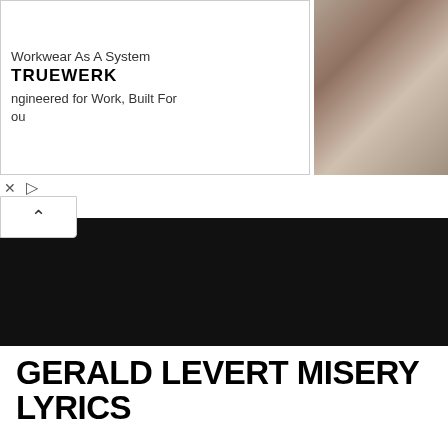[Figure (screenshot): Advertisement banner for TRUEWERK workwear. Shows TRUEWERK logo on left, text 'Workwear As A System / Engineered for Work, Built For You' in center, and a photo of a man working outdoors on the right.]
[Figure (screenshot): Dark black media player/video bar collapsed on the page.]
GERALD LEVERT MISERY LYRICS
[Figure (screenshot): Video thumbnail showing a dark blurred background with bold white serif text reading 'Shootin The Breeze' and a blue arrow icon on the right side.]